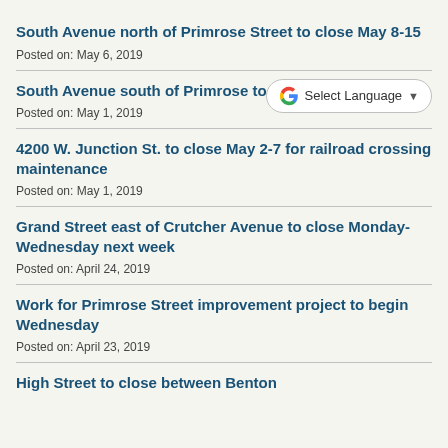South Avenue north of Primrose Street to close May 8-15
Posted on: May 6, 2019
South Avenue south of Primrose to close
Posted on: May 1, 2019
4200 W. Junction St. to close May 2-7 for railroad crossing maintenance
Posted on: May 1, 2019
Grand Street east of Crutcher Avenue to close Monday-Wednesday next week
Posted on: April 24, 2019
Work for Primrose Street improvement project to begin Wednesday
Posted on: April 23, 2019
High Street to close between Benton